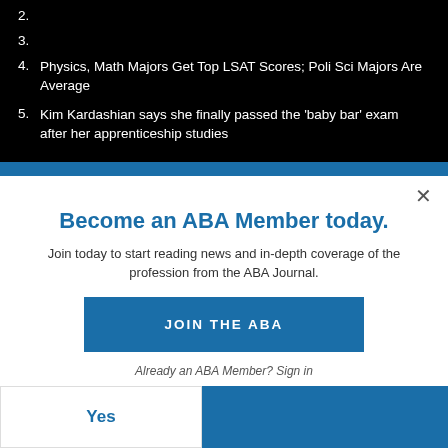2.
3.
4. Physics, Math Majors Get Top LSAT Scores; Poli Sci Majors Are Average
5. Kim Kardashian says she finally passed the 'baby bar' exam after her apprenticeship studies
Become an ABA Member today.
Join today to start reading news and in-depth coverage of the profession from the ABA Journal.
JOIN THE ABA
Already an ABA Member? Sign in
Yes